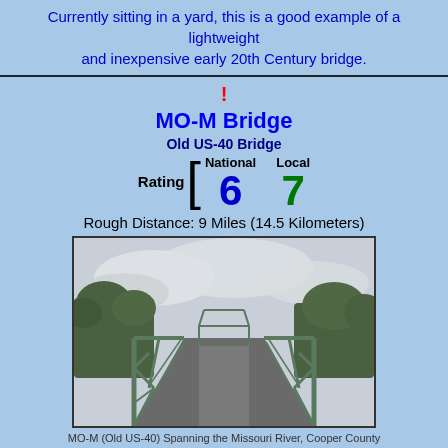Currently sitting in a yard, this is a good example of a lightweight and inexpensive early 20th Century bridge.
MO-M Bridge
Old US-40 Bridge
Rating [ National 6  Local 7
Rough Distance: 9 Miles (14.5 Kilometers)
[Figure (photo): Road-level view looking straight down a green steel truss bridge (pony truss), with a second smaller truss visible in the distance. Trees and overcast sky in background.]
MO-M (Old US-40) Spanning the Missouri River, Cooper County